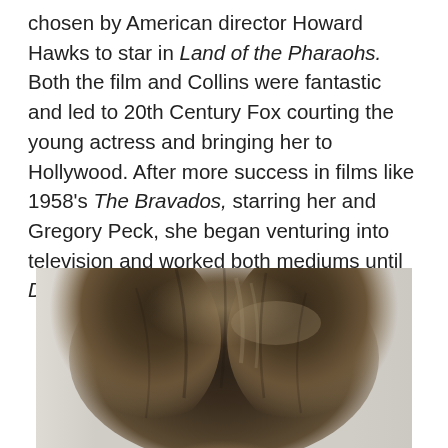chosen by American director Howard Hawks to star in Land of the Pharaohs. Both the film and Collins were fantastic and led to 20th Century Fox courting the young actress and bringing her to Hollywood. After more success in films like 1958's The Bravados, starring her and Gregory Peck, she began venturing into television and worked both mediums until Dynasty's dynasty began.
[Figure (photo): Portrait photo of a woman with voluminous dark brown hair with lighter highlights, cropped to show the top of the head and upper face against a light gray background.]